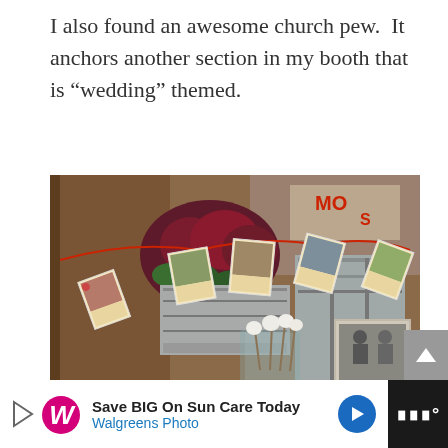I also found an awesome church pew.  It anchors another section in my booth that is “wedding” themed.
[Figure (photo): A vintage-themed booth display featuring a garland of antique postcards strung with red ribbon, dark red flowers in a gray wooden box, cotton stems in a glass vase, and a framed black-and-white photograph — styled in a wedding-themed antique market booth.]
[Figure (other): Walgreens Photo advertisement banner reading 'Save BIG On Sun Care Today — Walgreens Photo' with Walgreens cursive logo and blue directional arrow icon, on a dark background.]